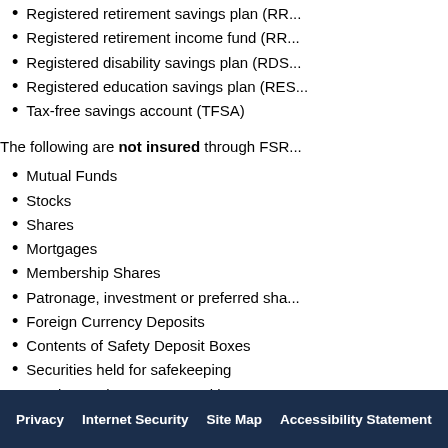Registered retirement savings plan (RR...)
Registered retirement income fund (RR...)
Registered disability savings plan (RDS...)
Registered education savings plan (RES...)
Tax-free savings account (TFSA)
The following are not insured through FSR...
Mutual Funds
Stocks
Shares
Mortgages
Membership Shares
Patronage, investment or preferred sha...
Foreign Currency Deposits
Contents of Safety Deposit Boxes
Securities held for safekeeping
Bonds & Debentures Issued by Govern...
Treasury Bills
Learn more at fsrao.ca.
Privacy   Internet Security   Site Map   Accessibility Statement